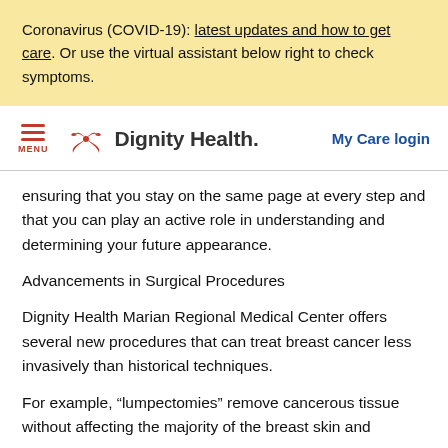Coronavirus (COVID-19): latest updates and how to get care. Or use the virtual assistant below right to check symptoms.
Dignity Health — My Care login
ensuring that you stay on the same page at every step and that you can play an active role in understanding and determining your future appearance.
Advancements in Surgical Procedures
Dignity Health Marian Regional Medical Center offers several new procedures that can treat breast cancer less invasively than historical techniques.
For example, “lumpectomies” remove cancerous tissue without affecting the majority of the breast skin and